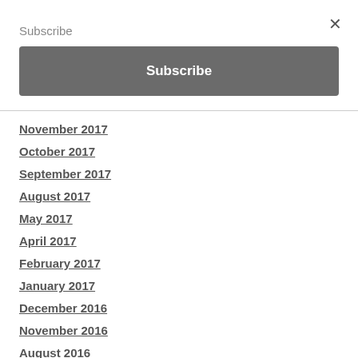Subscribe
Subscribe
November 2017
October 2017
September 2017
August 2017
May 2017
April 2017
February 2017
January 2017
December 2016
November 2016
August 2016
May 2016
March 2016